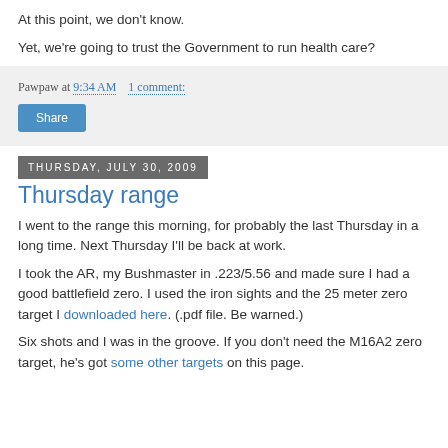At this point, we don't know.
Yet, we're going to trust the Government to run health care?
Pawpaw at 9:34 AM    1 comment:
Share
Thursday, July 30, 2009
Thursday range
I went to the range this morning, for probably the last Thursday in a long time. Next Thursday I'll be back at work.
I took the AR, my Bushmaster in .223/5.56 and made sure I had a good battlefield zero. I used the iron sights and the 25 meter zero target I downloaded here. (.pdf file. Be warned.)
Six shots and I was in the groove. If you don't need the M16A2 zero target, he's got some other targets on this page.